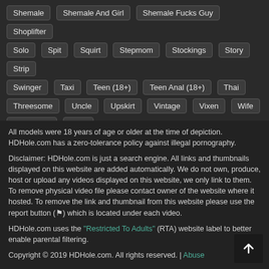Shemale
Shemale And Girl
Shemale Fucks Guy
Shoplifter
Solo
Spit
Squirt
Stepmom
Stockings
Story
Strip
Swinger
Taxi
Teen (18+)
Teen Anal (18+)
Thai
Threesome
Uncle
Upskirt
Vintage
Vixen
Wife
Wife Swap
Yoga
All models were 18 years of age or older at the time of depiction. HDHole.com has a zero-tolerance policy against illegal pornography.
Disclaimer: HDHole.com is just a search engine. All links and thumbnails displayed on this website are added automatically. We do not own, produce, host or upload any videos displayed on this website, we only link to them. To remove physical video file please contact owner of the website where it hosted. To remove the link and thumbnail from this website please use the report button (🏴) which is located under each video.
HDHole.com uses the "Restricted To Adults" (RTA) website label to better enable parental filtering.
Copyright © 2019 HDHole.com. All rights reserved. | Abuse